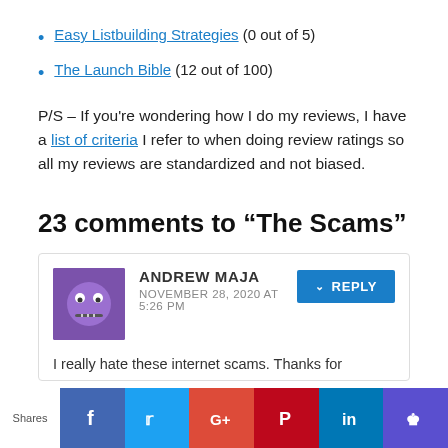Easy Listbuilding Strategies (0 out of 5)
The Launch Bible (12 out of 100)
P/S – If you're wondering how I do my reviews, I have a list of criteria I refer to when doing review ratings so all my reviews are standardized and not biased.
23 comments to “The Scams”
ANDREW MAJA
NOVEMBER 28, 2020 AT 5:26 PM
I really hate these internet scams. Thanks for